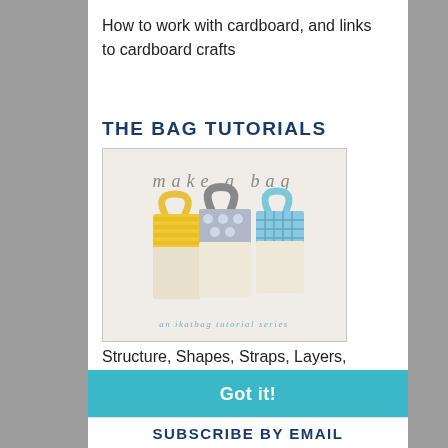How to work with cardboard, and links to cardboard crafts
THE BAG TUTORIALS
[Figure (photo): Photo showing three fabric tote bags (yellow, grey polka dot, blue) with text 'make a bag' and 'an ikatbag tutorial series']
Structure, Shapes, Straps, Layers,
This website uses cookies to ensure you get the best experience on our website.
Learn more
Got it!
SUBSCRIBE BY EMAIL